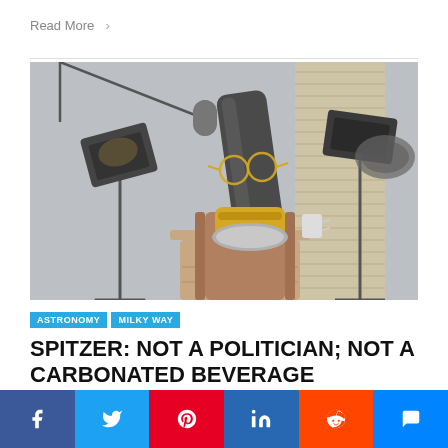Read More  >
[Figure (photo): A space telescope (Spitzer) rendered as a character sitting in an office chair at a desk, wearing glasses, surrounded by studio lighting equipment and a microphone boom, in a television interview set-up.]
ASTRONOMY | MILKY WAY
SPITZER: NOT A POLITICIAN; NOT A CARBONATED BEVERAGE